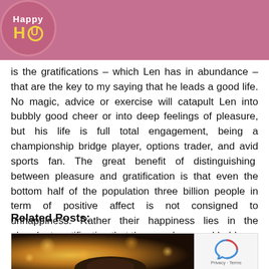Happy HU [logo]
is the gratifications – which Len has in abundance – that are the key to my saying that he leads a good life. No magic, advice or exercise will catapult Len into bubbly good cheer or into deep feelings of pleasure, but his life is full total engagement, being a championship bridge player, options trader, and avid sports fan. The great benefit of distinguishing  between pleasure and gratification is that even the bottom half of the population three billion people in term of positive affect is not consigned to unhappiness. Rather their happiness lies in the abundant gratification that they can have and hold.
Related Posts:
[Figure (photo): A photo showing a person with bokeh light background, related posts thumbnail]